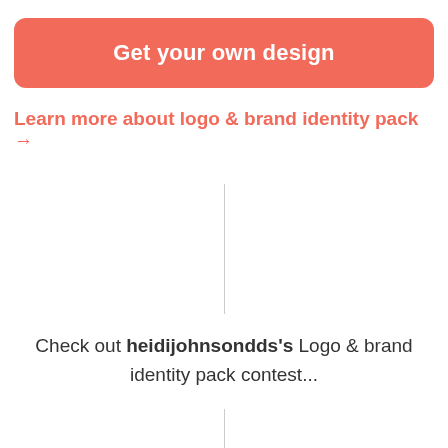Get your own design
Learn more about logo & brand identity pack →
Check out heidijohnsondds's Logo & brand identity pack contest...